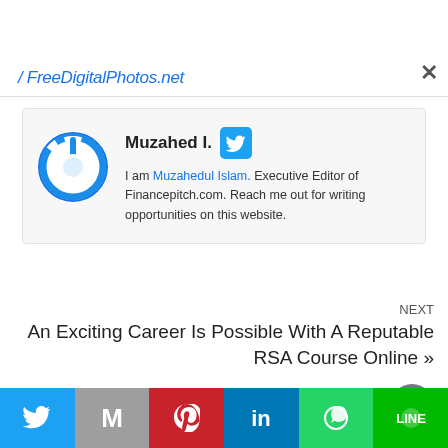/ FreeDigitalPhotos.net
[Figure (other): Author bio card with circular power-button avatar icon, author name 'Muzahed I.' with Twitter bird icon, and bio text: 'I am Muzahedul Islam. Executive Editor of Financepitch.com. Reach me out for writing opportunities on this website.']
NEXT
An Exciting Career Is Possible With A Reputable RSA Course Online »
PREVIOUS
[Figure (other): Social share bar with Twitter, Gmail, Pinterest, LinkedIn, WhatsApp, and LINE buttons]